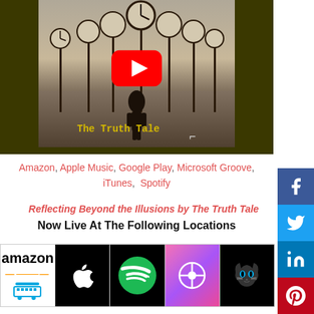[Figure (screenshot): YouTube video thumbnail for 'The Truth Tale' showing a man in a suit standing among surreal clocks on poles in a desolate landscape, with a YouTube play button overlay and 'The Truth Tale' text in yellow]
Amazon, Apple Music, Google Play, Microsoft Groove, iTunes, Spotify
Reflecting Beyond the Illusions by The Truth Tale Now Live At The Following Locations
[Figure (logo): Row of streaming service logos: Amazon, Apple Music, Spotify, iTunes, Napster]